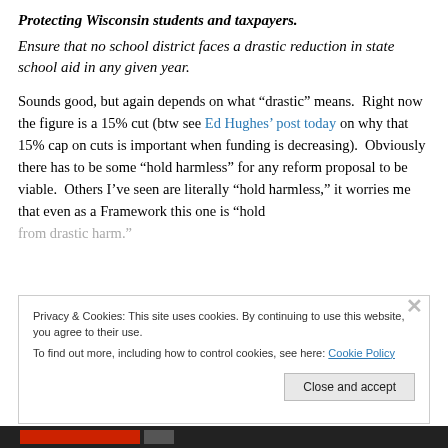Protecting Wisconsin students and taxpayers.
Ensure that no school district faces a drastic reduction in state school aid in any given year.
Sounds good, but again depends on what “drastic” means. Right now the figure is a 15% cut (btw see Ed Hughes’ post today on why that 15% cap on cuts is important when funding is decreasing). Obviously there has to be some “hold harmless” for any reform proposal to be viable. Others I’ve seen are literally “hold harmless,” it worries me that even as a Framework this one is “hold from drastic harm.”
Privacy & Cookies: This site uses cookies. By continuing to use this website, you agree to their use.
To find out more, including how to control cookies, see here: Cookie Policy